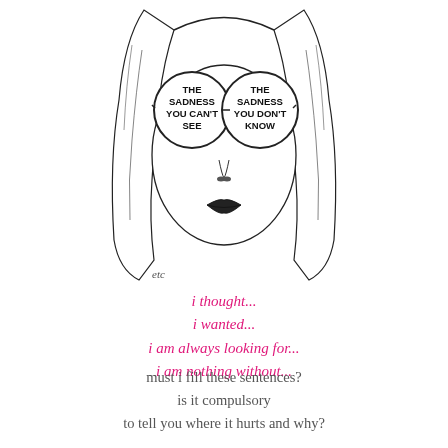[Figure (illustration): Line drawing of a woman's face with straight hair and large round glasses. Left lens reads 'THE SADNESS YOU CAN'T SEE' and right lens reads 'THE SADNESS YOU DON'T KNOW'. The woman has dark lips. Signed 'etc' at the bottom left of the illustration.]
i thought...
i wanted...
i am always looking for...
i am nothing without...
must i fill these sentences?
is it compulsory
to tell you where it hurts and why?